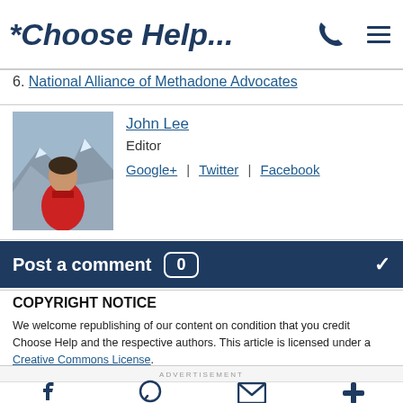*Choose Help...
6. National Alliance of Methadone Advocates
[Figure (photo): Photo of John Lee, editor, man in red jacket with mountain background]
John Lee
Editor
Google+ | Twitter | Facebook
Post a comment  0
COPYRIGHT NOTICE
We welcome republishing of our content on condition that you credit Choose Help and the respective authors. This article is licensed under a Creative Commons License.
[Figure (logo): Creative Commons BY license badge]
ADVERTISEMENT
Footer navigation icons: Facebook, WhatsApp/chat, Email, Plus